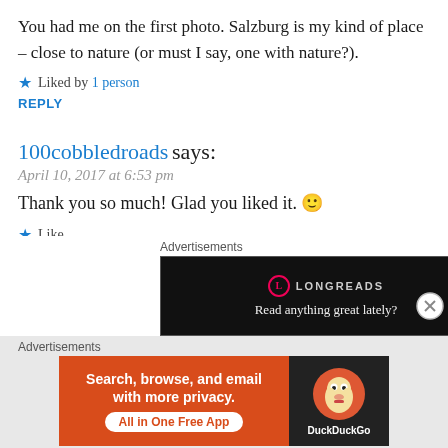You had me on the first photo. Salzburg is my kind of place – close to nature (or must I say, one with nature?).
★ Liked by 1 person
REPLY
100cobbledroads says:
April 10, 2017 at 6:53 pm
Thank you so much! Glad you liked it. 🙂
★ Like
REPLY
Advertisements
[Figure (screenshot): Longreads advertisement: black background with Longreads logo and text 'Read anything great lately?']
Advertisements
[Figure (screenshot): DuckDuckGo advertisement: orange left panel with text 'Search, browse, and email with more privacy. All in One Free App' and dark right panel with DuckDuckGo duck logo]